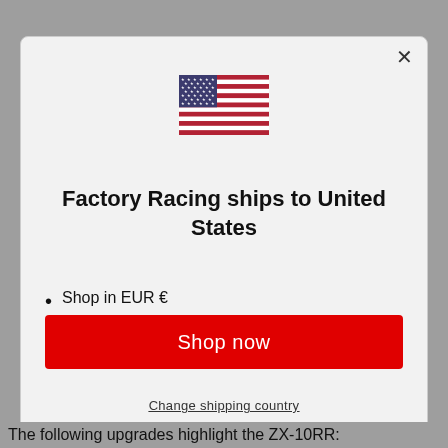[Figure (illustration): US flag icon centered above modal title]
Factory Racing ships to United States
Shop in EUR €
Get shipping options for United States
Shop now
Change shipping country
The following upgrades highlight the ZX-10RR: